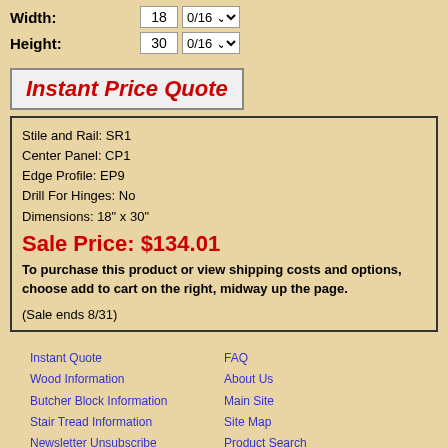Width: 18 0/16
Height: 30 0/16
Instant Price Quote
Stile and Rail: SR1
Center Panel: CP1
Edge Profile: EP9
Drill For Hinges: No
Dimensions: 18" x 30"
Sale Price: $134.01
To purchase this product or view shipping costs and options, choose add to cart on the right, midway up the page.
(Sale ends 8/31)
Instant Quote
Wood Information
Butcher Block Information
Stair Tread Information
Newsletter Unsubscribe
Privacy Notice
Shipping & Returns
Terms and Conditions
FAQ
About Us
Main Site
Site Map
Product Search
Photo Gallery
Warranty
Contact Us